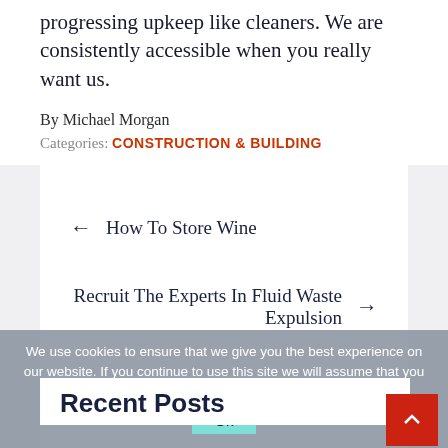progressing upkeep like cleaners. We are consistently accessible when you really want us.
By Michael Morgan
Categories: CONSTRUCTION & BUILDING
← How To Store Wine
Recruit The Experts In Fluid Waste Expulsion →
We use cookies to ensure that we give you the best experience on our website. If you continue to use this site we will assume that you are happy with it.
Recent Posts